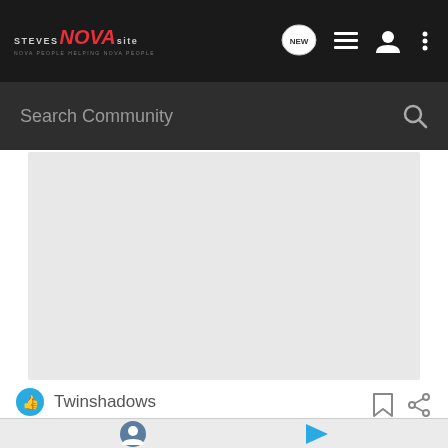Steves NOVA site — navigation bar with logo, NEW chat button, list icon, user icon, more icon
Search Community
[Figure (screenshot): Gray placeholder / advertisement area]
Twinshadows
[Figure (screenshot): Bottom section with user profile icon and play/forward icon]